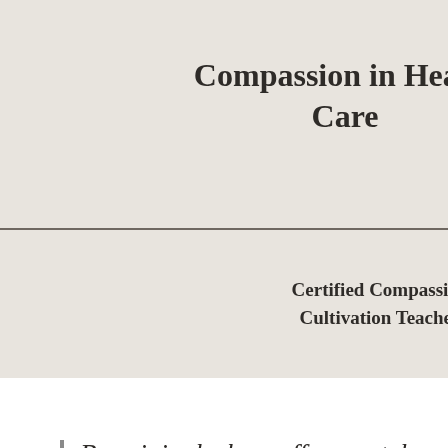Compassion in Health Care
can ole find ahead,
Certified Compassion Cultivation Teacher
Be original, show off your style, and tell your story.
Blogging gives your site a voice, so let your business' personality shine through. Are you a creative agency? Go wild with original blog posts about recent projects, cool inspirational ideas, or what your company culture is like. Add images, and